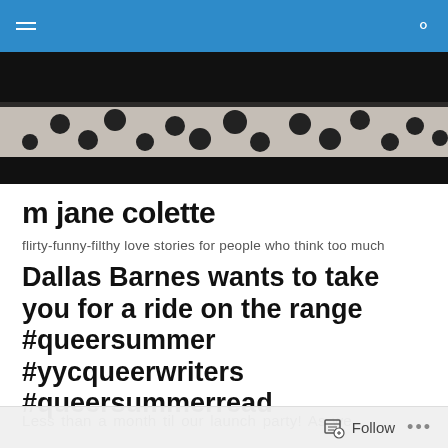Navigation bar with hamburger menu and search icon
[Figure (photo): Dark background header image showing polka-dot fabric/ribbon in black and white]
m jane colette
flirty-funny-filthy love stories for people who think too much
Dallas Barnes wants to take you for a ride on the range #queersummer #yycqueerwriters #queersummerread
Less than a month til our launch party! As we
Follow ...